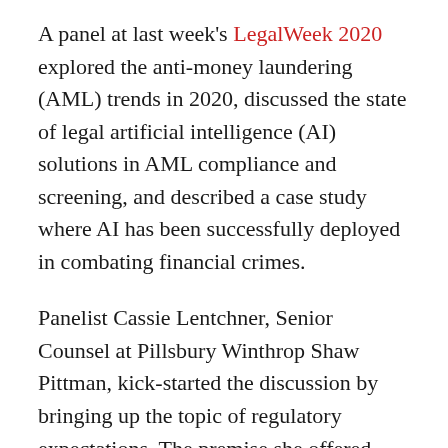A panel at last week's LegalWeek 2020 explored the anti-money laundering (AML) trends in 2020, discussed the state of legal artificial intelligence (AI) solutions in AML compliance and screening, and described a case study where AI has been successfully deployed in combating financial crimes.
Panelist Cassie Lentchner, Senior Counsel at Pillsbury Winthrop Shaw Pittman, kick-started the discussion by bringing up the topic of regulatory expectations. The premise she offered stated that those institutions which contemplate or currently use AI for compliance functions must employ a risk management fundamentals model.